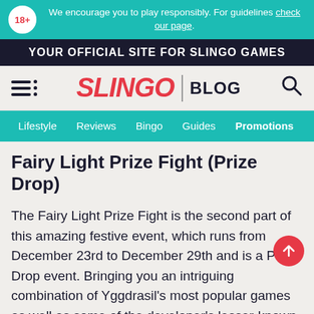We encourage you to play responsibly. For guidelines check our page.
YOUR OFFICIAL SITE FOR SLINGO GAMES
SLINGO | BLOG
Lifestyle  Reviews  Bingo  Guides  Promotions
Fairy Light Prize Fight (Prize Drop)
The Fairy Light Prize Fight is the second part of this amazing festive event, which runs from December 23rd to December 29th and is a Prize Drop event. Bringing you an intriguing combination of Yggdrasil's most popular games as well as some of the developer's lesser-known titles, this is a great chance to try out the whole range of titles from this developer and you might even discover your new slot favourite